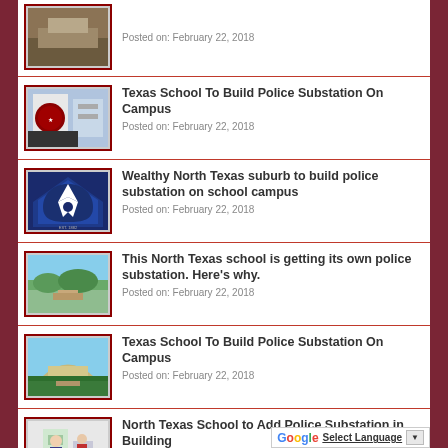[Figure (photo): Thumbnail image of a building/landscape - partial view at top]
Posted on: February 22, 2018
Texas School To Build Police Substation On Campus
Posted on: February 22, 2018
Wealthy North Texas suburb to build police substation on school campus
Posted on: February 22, 2018
This North Texas school is getting its own police substation. Here's why.
Posted on: February 22, 2018
Texas School To Build Police Substation On Campus
Posted on: February 22, 2018
North Texas School to Add Police Substation in Building
Posted on: February 22, 2018